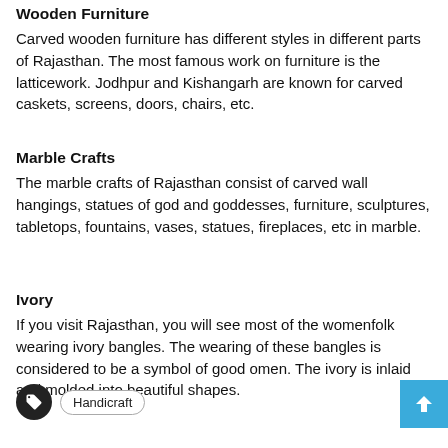Wooden Furniture
Carved wooden furniture has different styles in different parts of Rajasthan. The most famous work on furniture is the latticework. Jodhpur and Kishangarh are known for carved caskets, screens, doors, chairs, etc.
Marble Crafts
The marble crafts of Rajasthan consist of carved wall hangings, statues of god and goddesses, furniture, sculptures, tabletops, fountains, vases, statues, fireplaces, etc in marble.
Ivory
If you visit Rajasthan, you will see most of the womenfolk wearing ivory bangles. The wearing of these bangles is considered to be a symbol of good omen. The ivory is inlaid and molded into beautiful shapes.
Handicraft